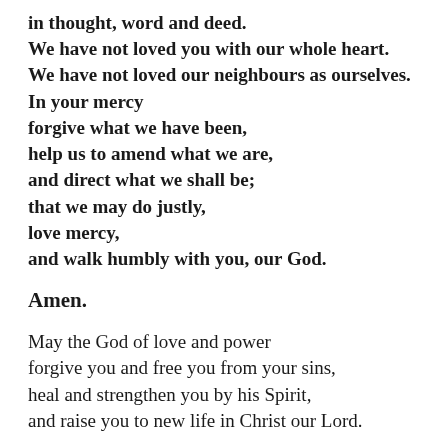in thought, word and deed.
We have not loved you with our whole heart.
We have not loved our neighbours as ourselves.
In your mercy
forgive what we have been,
help us to amend what we are,
and direct what we shall be;
that we may do justly,
love mercy,
and walk humbly with you, our God.

Amen.

May the God of love and power
forgive you and free you from your sins,
heal and strengthen you by his Spirit,
and raise you to new life in Christ our Lord.